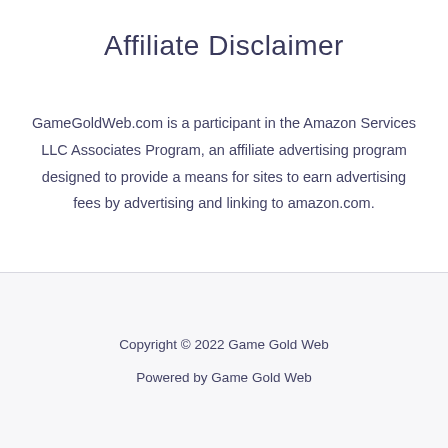Affiliate Disclaimer
GameGoldWeb.com is a participant in the Amazon Services LLC Associates Program, an affiliate advertising program designed to provide a means for sites to earn advertising fees by advertising and linking to amazon.com.
Copyright © 2022 Game Gold Web
Powered by Game Gold Web